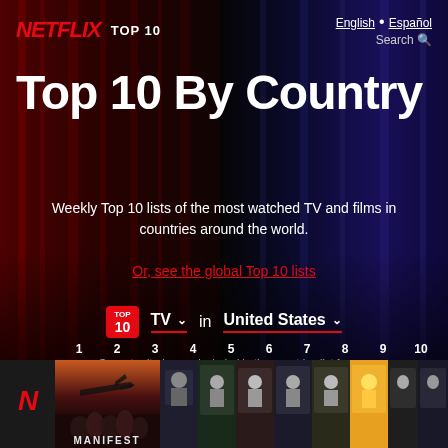NETFLIX TOP 10 | English · Español | Search
Top 10 By Country
Weekly Top 10 lists of the most watched TV and films in countries around the world.
Or, see the global Top 10 lists
TOP 10  TV ▾  in  United States ▾
Some territories are included in the countries list for convenience.
[Figure (screenshot): Thumbnail strip showing numbered top 10 show thumbnails with Manifest visible as #1, and numbered positions 1-10 shown above the strip]